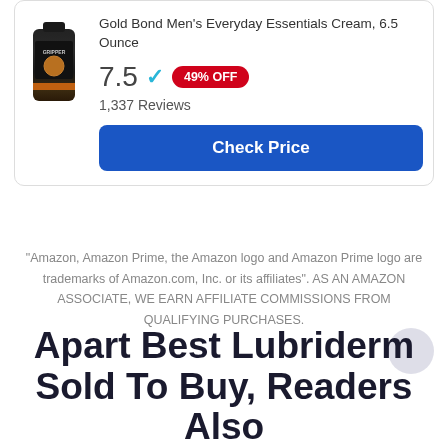10
[Figure (photo): Product image of a dark tube/cream bottle (Gripper brand), approximately 6.5 ounce cream container with brown accents]
Gold Bond Men's Everyday Essentials Cream, 6.5 Ounce
7.5 ✓ 49% OFF
1,337 Reviews
Check Price
"Amazon, Amazon Prime, the Amazon logo and Amazon Prime logo are trademarks of Amazon.com, Inc. or its affiliates". AS AN AMAZON ASSOCIATE, WE EARN AFFILIATE COMMISSIONS FROM QUALIFYING PURCHASES.
Apart Best Lubriderm Sold To Buy, Readers Also